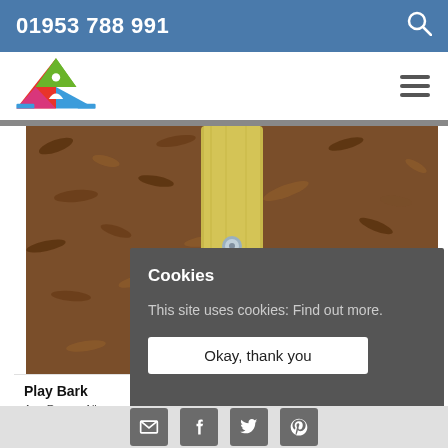01953 788 991
[Figure (logo): Colourful triangle logo with a person silhouette inside]
[Figure (photo): Close-up photo of wood bark mulch ground cover with a yellow timber post]
Play Bark
Age Range: All ages
Price: £POA
Cookies
This site uses cookies: Find out more.
Okay, thank you
Social media icons: email, facebook, twitter, pinterest